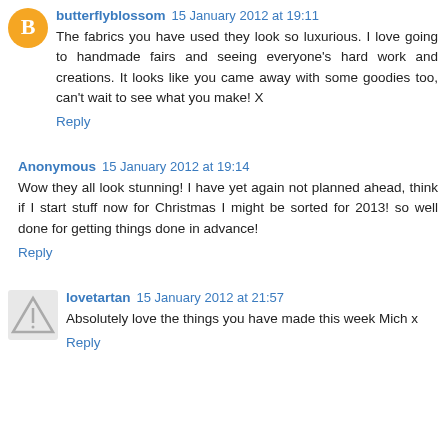butterflyblossom 15 January 2012 at 19:11
The fabrics you have used they look so luxurious. I love going to handmade fairs and seeing everyone's hard work and creations. It looks like you came away with some goodies too, can't wait to see what you make! X
Reply
Anonymous 15 January 2012 at 19:14
Wow they all look stunning! I have yet again not planned ahead, think if I start stuff now for Christmas I might be sorted for 2013! so well done for getting things done in advance!
Reply
lovetartan 15 January 2012 at 21:57
Absolutely love the things you have made this week Mich x
Reply